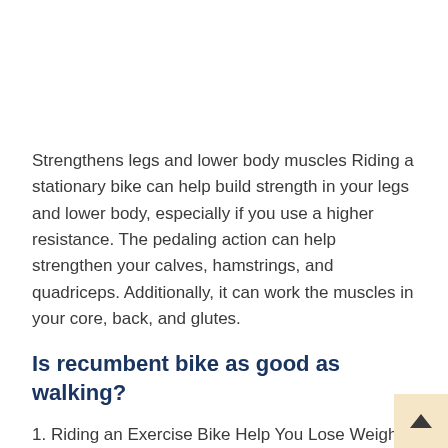Strengthens legs and lower body muscles Riding a stationary bike can help build strength in your legs and lower body, especially if you use a higher resistance. The pedaling action can help strengthen your calves, hamstrings, and quadriceps. Additionally, it can work the muscles in your core, back, and glutes.
Is recumbent bike as good as walking?
1. Riding an Exercise Bike Help You Lose Weight. Even the diet doctor recommends it as one of the methods you can use to burn more calories, lose weight, and build muscles. Compared to walking, where you burn only 120 calories per mile, riding a stationary bike for at